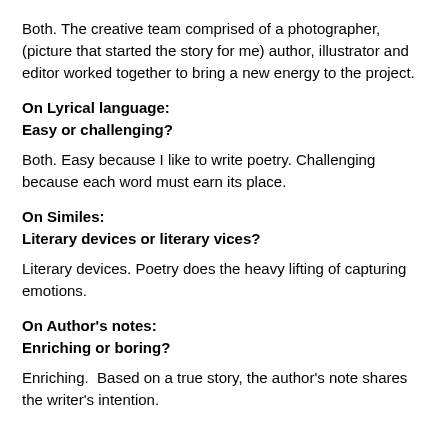Both. The creative team comprised of a photographer, (picture that started the story for me) author, illustrator and editor worked together to bring a new energy to the project.
On Lyrical language:
Easy or challenging?
Both. Easy because I like to write poetry. Challenging because each word must earn its place.
On Similes:
Literary devices or literary vices?
Literary devices. Poetry does the heavy lifting of capturing emotions.
On Author's notes:
Enriching or boring?
Enriching.  Based on a true story, the author's note shares the writer's intention.